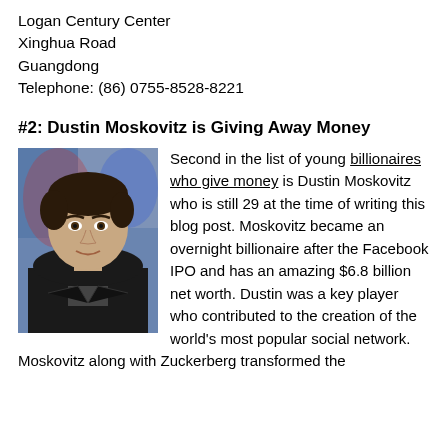Logan Century Center
Xinghua Road
Guangdong
Telephone: (86) 0755-8528-8221
#2: Dustin Moskovitz is Giving Away Money
[Figure (photo): Headshot photo of Dustin Moskovitz, a young man with short dark hair wearing a dark jacket, with a colorful artistic background]
Second in the list of young billionaires who give money is Dustin Moskovitz who is still 29 at the time of writing this blog post. Moskovitz became an overnight billionaire after the Facebook IPO and has an amazing $6.8 billion net worth. Dustin was a key player who contributed to the creation of the world's most popular social network. Moskovitz along with Zuckerberg transformed the